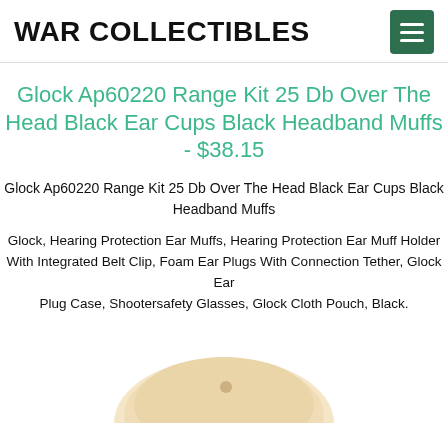WAR COLLECTIBLES
Glock Ap60220 Range Kit 25 Db Over The Head Black Ear Cups Black Headband Muffs - $38.15
Glock Ap60220 Range Kit 25 Db Over The Head Black Ear Cups Black Headband Muffs
Glock, Hearing Protection Ear Muffs, Hearing Protection Ear Muff Holder With Integrated Belt Clip, Foam Ear Plugs With Connection Tether, Glock Ear Plug Case, Shootersafety Glasses, Glock Cloth Pouch, Black.
[Figure (photo): Product photo showing the Glock Ap60220 Range Kit ear muffs/headset, partially visible at bottom of page]